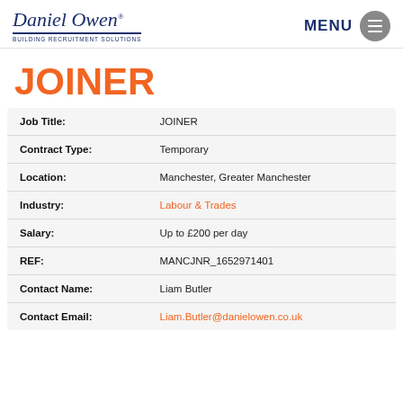Daniel Owen® BUILDING RECRUITMENT SOLUTIONS | MENU
JOINER
| Field | Value |
| --- | --- |
| Job Title: | JOINER |
| Contract Type: | Temporary |
| Location: | Manchester, Greater Manchester |
| Industry: | Labour & Trades |
| Salary: | Up to £200 per day |
| REF: | MANCJNR_1652971401 |
| Contact Name: | Liam Butler |
| Contact Email: | Liam.Butler@danielowen.co.uk |